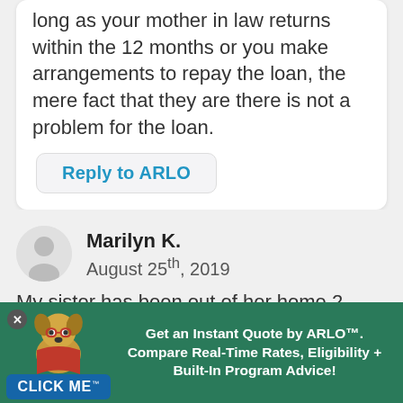long as your mother in law returns within the 12 months or you make arrangements to repay the loan, the mere fact that they are there is not a problem for the loan.
Reply to ARLO
Marilyn K.
August 25th, 2019
My sister has been out of her home 2 mo... short of a year in a nursing home
[Figure (illustration): Advertisement banner with green background, cartoon dog mascot wearing glasses and red cape, CLICK ME badge, close button, and text: Get an Instant Quote by ARLO™. Compare Real-Time Rates, Eligibility + Built-In Program Advice!]